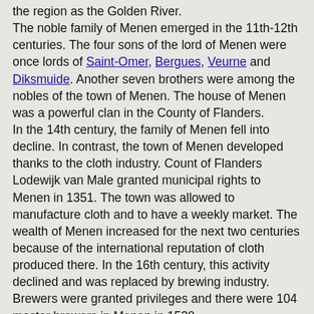the region as the Golden River. The noble family of Menen emerged in the 11th-12th centuries. The four sons of the lord of Menen were once lords of Saint-Omer, Bergues, Veurne and Diksmuide. Another seven brothers were among the nobles of the town of Menen. The house of Menen was a powerful clan in the County of Flanders. In the 14th century, the family of Menen fell into decline. In contrast, the town of Menen developed thanks to the cloth industry. Count of Flanders Lodewijk van Male granted municipal rights to Menen in 1351. The town was allowed to manufacture cloth and to have a weekly market. The wealth of Menen increased for the next two centuries because of the international reputation of cloth produced there. In the 16th century, this activity declined and was replaced by brewing industry. Brewers were granted privileges and there were 104 master brewers in Menen in 1520. In 1548, a huge blaze destroyed three-quarters of the town. Black plague reached Menen, followed by the religious troubles. Several supporters of the new (Protestant) ideas left the town; other were arrested, sentenced and executed. The building of the belfry of Menen started in 1574 and was stopped two years later because of the religious troubles. The building site resumed in 1610 under the guidance of master mason Jan Persyn, from Kortrijk. The belfry was further increased and revamped in 1711, 1828 and 1932. In 1999, the belfrys of several Belgian town were registered on the list of World Heritage by